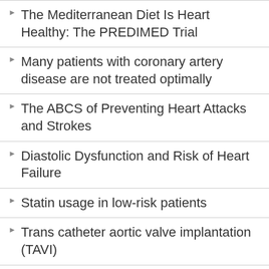The Mediterranean Diet Is Heart Healthy: The PREDIMED Trial
Many patients with coronary artery disease are not treated optimally
The ABCS of Preventing Heart Attacks and Strokes
Diastolic Dysfunction and Risk of Heart Failure
Statin usage in low-risk patients
Trans catheter aortic valve implantation (TAVI)
Treatment of Ischemic Heart Failure
Cardiac Surgery Risk Analysis